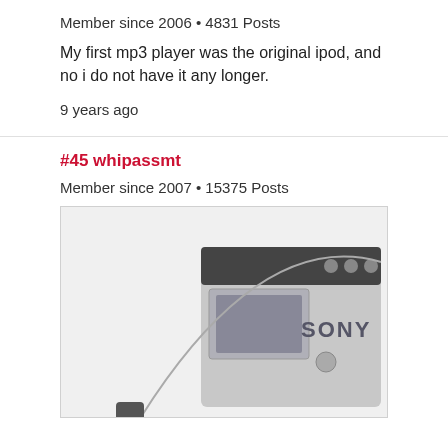Member since 2006 • 4831 Posts
My first mp3 player was the original ipod, and no i do not have it any longer.
9 years ago
#45 whipassmt
Member since 2007 • 15375 Posts
[Figure (photo): Photo of a Sony Walkman device with headphone wire visible against white/light gray background]